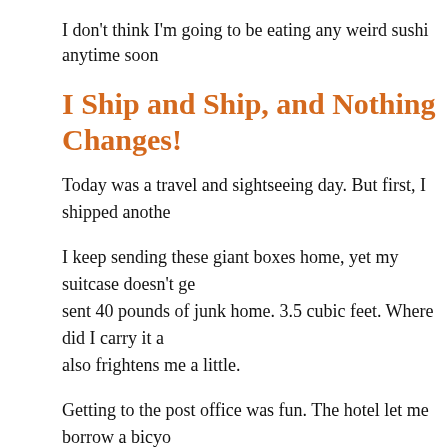I don't think I'm going to be eating any weird sushi anytime soon
I Ship and Ship, and Nothing Changes!
Today was a travel and sightseeing day. But first, I shipped anothe
I keep sending these giant boxes home, yet my suitcase doesn't ge sent 40 pounds of junk home. 3.5 cubic feet. Where did I carry it a also frightens me a little.
Getting to the post office was fun. The hotel let me borrow a bicyo giant box in the basket. I had to hold on to the box while I tried to
Good times.
Checking Out
I checked out and went to the tourism office in Kyoto Station to re